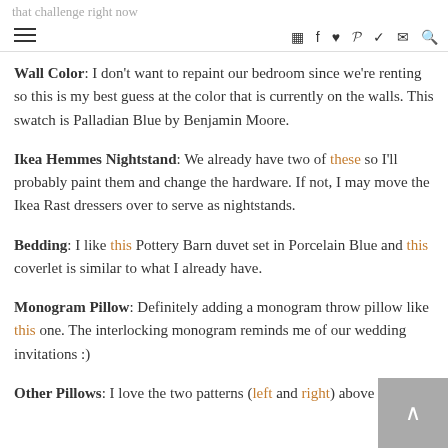that challenge right now
Wall Color: I don't want to repaint our bedroom since we're renting so this is my best guess at the color that is currently on the walls. This swatch is Palladian Blue by Benjamin Moore.
Ikea Hemmes Nightstand: We already have two of these so I'll probably paint them and change the hardware. If not, I may move the Ikea Rast dressers over to serve as nightstands.
Bedding: I like this Pottery Barn duvet set in Porcelain Blue and this coverlet is similar to what I already have.
Monogram Pillow: Definitely adding a monogram throw pillow like this one. The interlocking monogram reminds me of our wedding invitations :)
Other Pillows: I love the two patterns (left and right) above